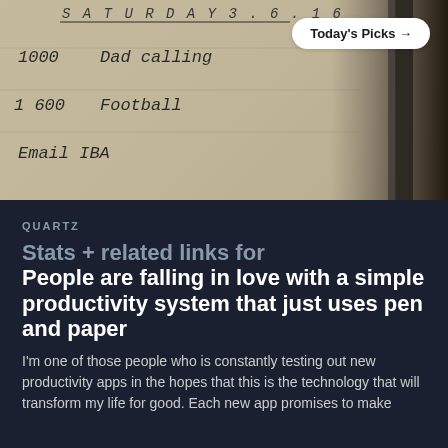[Figure (photo): A photograph of a handwritten notebook page showing a schedule or to-do list. Visible text includes a date (looks like 3.6.16), '1000 Dad calling', '1600 Football', 'Email IBA'. A dark pen is visible on the right side. A 'Today's Picks →' button is overlaid in the top right corner.]
QUARTZ
Stats + related links for People are falling in love with a simple productivity system that just uses pen and paper
I'm one of those people who is constantly testing out new productivity apps in the hopes that this is the technology that will transform my life for good. Each new app promises to make